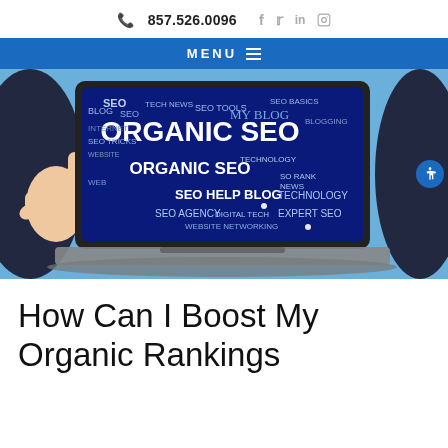📞 857.526.0096   f   🐦   in   📷
MENU ☰
[Figure (illustration): A laptop screen displaying 'ORGANIC SEO' word cloud with various SEO-related terms in blue and white, with a hand pointing at the screen from the left side. Blue background.]
How Can I Boost My Organic Rankings